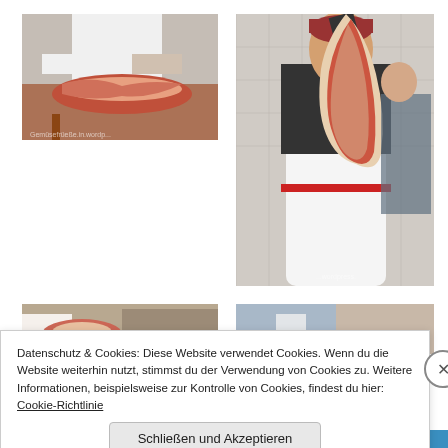[Figure (photo): Butcher cutting raw meat on a wooden table in a kitchen setting]
[Figure (photo): Butcher in black shirt and red hat holding up a large cut of raw meat]
[Figure (photo): Partial view of hands working with raw meat]
[Figure (photo): Partial view of butcher working with raw meat]
Datenschutz & Cookies: Diese Website verwendet Cookies. Wenn du die Website weiterhin nutzt, stimmst du der Verwendung von Cookies zu. Weitere Informationen, beispielsweise zur Kontrolle von Cookies, findest du hier: Cookie-Richtlinie
Schließen und Akzeptieren